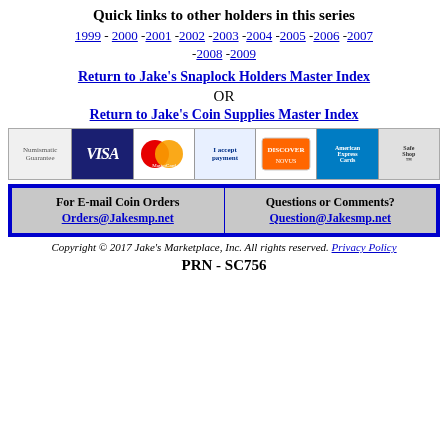Quick links to other holders in this series
1999 - 2000 -2001 -2002 -2003 -2004 -2005 -2006 -2007 -2008 -2009
Return to Jake's Snaplock Holders Master Index
OR
Return to Jake's Coin Supplies Master Index
[Figure (other): Payment method icons: Numismatic, Visa, MasterCard, PayPal, Discover Novus, American Express, SafeShopping]
| For E-mail Coin Orders
Orders@Jakesmp.net | Questions or Comments?
Question@Jakesmp.net |
Copyright © 2017 Jake's Marketplace, Inc. All rights reserved. Privacy Policy
PRN - SC756